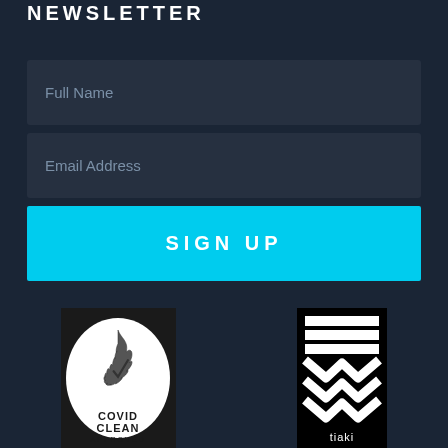NEWSLETTER
Full Name
Email Address
SIGN UP
[Figure (logo): COVID CLEAN APPROVED badge with New Zealand silver fern logo, circular black and white emblem]
[Figure (logo): Tiaki logo - black rectangle with white horizontal stripes and chevron/wave patterns, text reading tiaki at bottom]